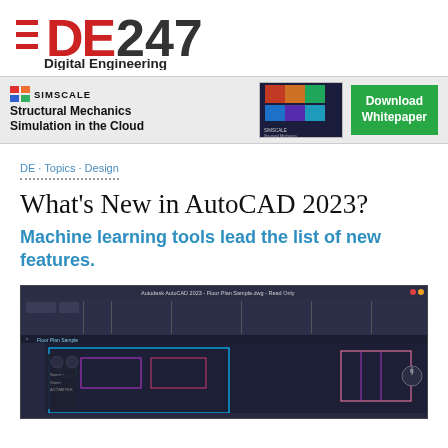DE247 Digital Engineering
[Figure (infographic): SimScale advertisement banner: 'Structural Mechanics Simulation in the Cloud' with a colorful simulation image and a green 'Download Whitepaper' button]
DE · Topics · Design
What's New in AutoCAD 2023?
Machine learning tools lead the list of new features.
[Figure (screenshot): AutoCAD 2023 software interface screenshot showing a floor plan drawing with the ribbon toolbar visible at the top]